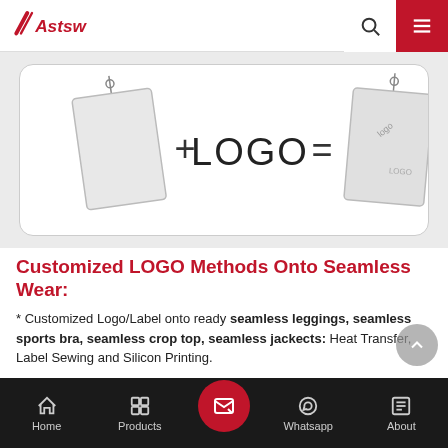Astsw — website header with logo, search, and menu
[Figure (illustration): Two hang tags / label cards with a plus sign and 'LOGO' text and equals sign between them, showing customized logo placement on hang tags]
Customized LOGO Methods Onto Seamless Wear:
* Customized Logo/Label onto ready seamless leggings, seamless sports bra, seamless crop top, seamless jackects: Heat Transfer, Label Sewing and Silicon Printing.
* Full Customized own seamless yoga pants and seamless sports bra design: Rubber Printing LOGO, Jacquard Weave
Home | Products | (contact/form button) | Whatsapp | About